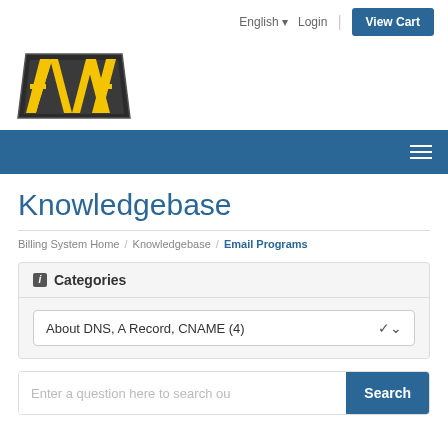English  Login  View Cart
[Figure (logo): AVA logo — yellow block letters A V A on a dark trapezoid base]
Knowledgebase
Billing System Home / Knowledgebase / Email Programs
Categories
About DNS, A Record, CNAME (4)
Enter a question here to search ou
Search